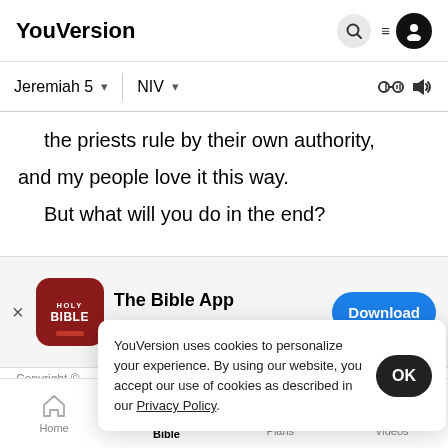YouVersion
Jeremiah 5   NIV
the priests rule by their own authority,
and my people love it this way.
But what will you do in the end?
[Figure (screenshot): The Bible App download banner with Holy Bible icon, 4.5 stars, 7.9M ratings, and Download button]
Copyright ©
YouVersion uses cookies to personalize your experience. By using our website, you accept our use of cookies as described in our Privacy Policy.
Learn More About New International Version
Home   Bible   Plans   Videos